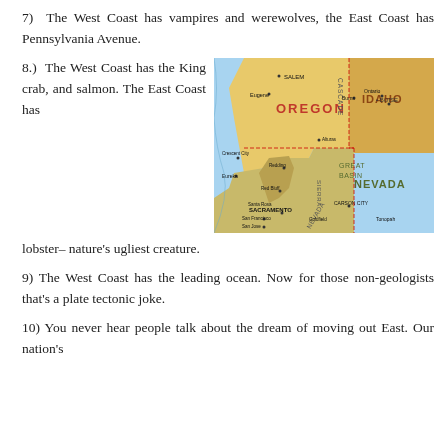7)  The West Coast has vampires and werewolves, the East Coast has Pennsylvania Avenue.
8.)  The West Coast has the King crab, and salmon. The East Coast has lobster– nature’s ugliest creature.
[Figure (map): A map showing the western United States including Oregon, Idaho, Nevada, and northern California with city labels including Salem, Eugene, Crescent City, Eureka, Sacramento, San Francisco, San Jose, Boise, Burns, Ontario, Redding, Alturas, Susanville, Red Bluff, Santa Rosa, Carson City, Tonopah.]
9) The West Coast has the leading ocean. Now for those non-geologists that’s a plate tectonic joke.
10) You never hear people talk about the dream of moving out East. Our nation’s